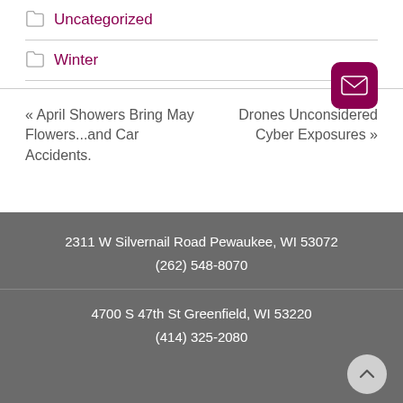Uncategorized
Winter
« April Showers Bring May Flowers...and Car Accidents.
Drones Unconsidered Cyber Exposures »
2311 W Silvernail Road Pewaukee, WI 53072
(262) 548-8070
4700 S 47th St Greenfield, WI 53220
(414) 325-2080